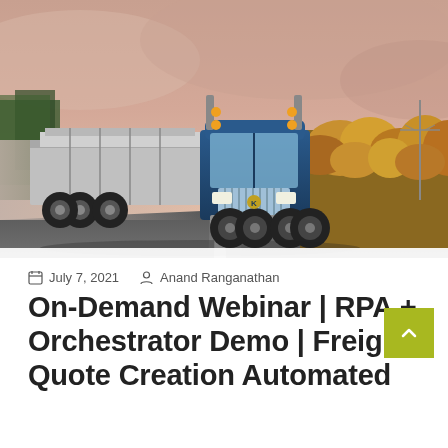[Figure (photo): A large blue semi-truck hauling a flatbed load driving down a highway, with autumn yellow-orange shrubs on the right side and a pink/cloudy sky in the background.]
July 7, 2021   Anand Ranganathan
On-Demand Webinar | RPA + Orchestrator Demo | Freight Quote Creation Automated